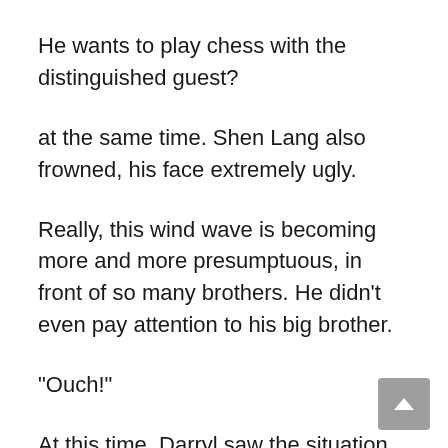He wants to play chess with the distinguished guest?
at the same time. Shen Lang also frowned, his face extremely ugly.
Really, this wind wave is becoming more and more presumptuous, in front of so many brothers. He didn’t even pay attention to his big brother.
“Ouch!”
At this time, Darryl saw the situation on the chessboard, and finally couldn’t help it. He laughed and said jokingly: “This distinguished guest’s chess skills are not very good.”